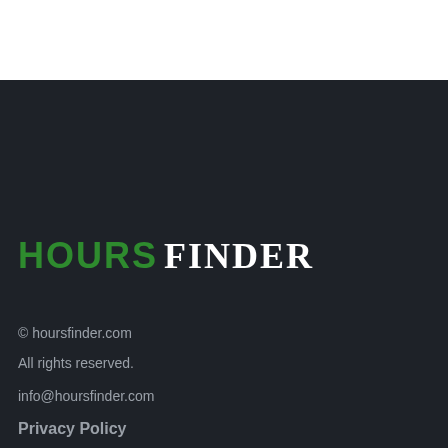[Figure (logo): HoursFinder logo with HOURS in green bold sans-serif and FINDER in white bold serif on dark background]
© hoursfinder.com
All rights reserved.
info@hoursfinder.com
Privacy Policy
Delivery